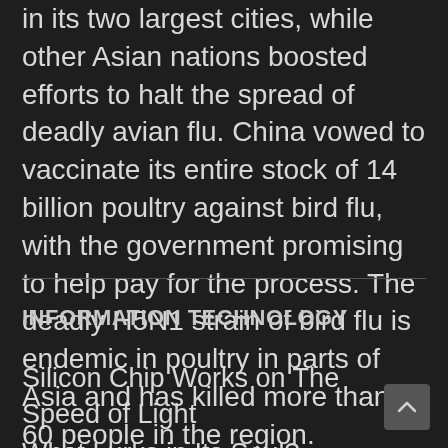in its two largest cities, while other Asian nations boosted efforts to halt the spread of deadly avian flu. China vowed to vaccinate its entire stock of 14 billion poultry against bird flu, with the government promising to help pay for the process. The deadly H5N1 strain of bird flu is endemic in poultry in parts of Asia and has killed more than 60 people in the region.
INFORMATION TECHNOLOGY
Silicon Chip Works on The Speed of Light
What Lurks in Its Soul?
Narrowing the Digital Divide